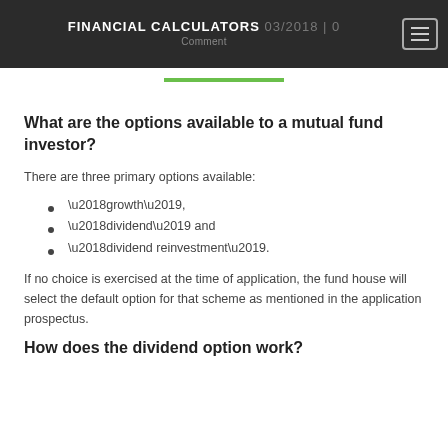FINANCIAL CALCULATORS 03/2018 | 0 Comment
What are the options available to a mutual fund investor?
There are three primary options available:
‘growth’,
‘dividend’ and
‘dividend reinvestment’.
If no choice is exercised at the time of application, the fund house will select the default option for that scheme as mentioned in the application prospectus.
How does the dividend option work?